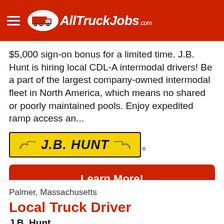AllTruckJobs.com
$5,000 sign-on bonus for a limited time. J.B. Hunt is hiring local CDL-A intermodal drivers! Be a part of the largest company-owned intermodal fleet in North America, which means no shared or poorly maintained pools. Enjoy expedited ramp access an...
[Figure (logo): J.B. Hunt yellow logo with black border and italic bold text]
Learn More!
Palmer, Massachusetts
Local Truck Driver
J.B. Hunt
posted 7 months ago
J.B. Hunt is hiring local CDL-A dedicated drivers!